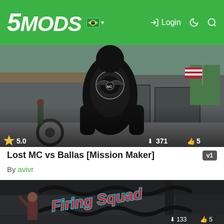5MODS | Login
[Figure (screenshot): GTA mod thumbnail showing a character with Lost MC vest from behind, at a garage/biker hangout. Rating: 5.0 stars, 371 downloads, 5 likes.]
Lost MC vs Ballas [Mission Maker]
By avivr
[Figure (screenshot): GTA mod thumbnail showing 'Firing Squad' title text in red and cyan over a dark indoor garage scene with characters.]